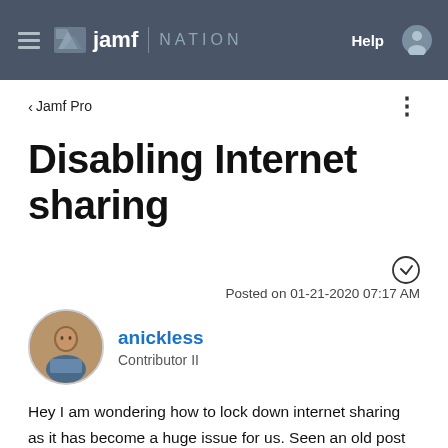jamf NATION | Help
< Jamf Pro
Disabling Internet sharing
Posted on 01-21-2020 07:17 AM
anickless
Contributor II
Hey I am wondering how to lock down internet sharing as it has become a huge issue for us. Seen an old post from 2012